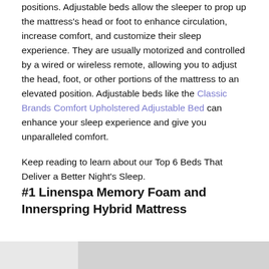positions. Adjustable beds allow the sleeper to prop up the mattress's head or foot to enhance circulation, increase comfort, and customize their sleep experience. They are usually motorized and controlled by a wired or wireless remote, allowing you to adjust the head, foot, or other portions of the mattress to an elevated position. Adjustable beds like the Classic Brands Comfort Upholstered Adjustable Bed can enhance your sleep experience and give you unparalleled comfort.
Keep reading to learn about our Top 6 Beds That Deliver a Better Night's Sleep.
#1 Linenspa Memory Foam and Innerspring Hybrid Mattress
[Figure (photo): Partial view of a product image at the bottom of the page, showing a light grey background with a mattress or bed product.]